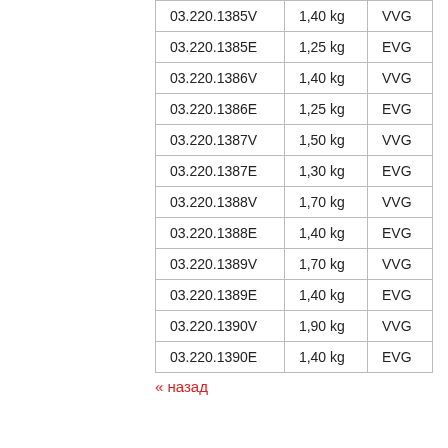| 03.220.1385V | 1,40 kg | VVG |
| 03.220.1385E | 1,25 kg | EVG |
| 03.220.1386V | 1,40 kg | VVG |
| 03.220.1386E | 1,25 kg | EVG |
| 03.220.1387V | 1,50 kg | VVG |
| 03.220.1387E | 1,30 kg | EVG |
| 03.220.1388V | 1,70 kg | VVG |
| 03.220.1388E | 1,40 kg | EVG |
| 03.220.1389V | 1,70 kg | VVG |
| 03.220.1389E | 1,40 kg | EVG |
| 03.220.1390V | 1,90 kg | VVG |
| 03.220.1390E | 1,40 kg | EVG |
« назад